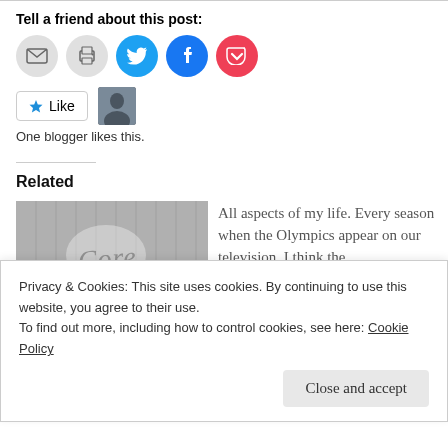Tell a friend about this post:
[Figure (illustration): Social sharing buttons: email (grey circle with envelope), print (grey circle with printer), Twitter (blue circle with bird icon), Facebook (blue circle with f icon), Pocket (red circle with pocket icon)]
[Figure (illustration): Like button with star icon and a small avatar photo of a person]
One blogger likes this.
Related
[Figure (photo): Related article image: a metallic surface with the word 'Core' written on it in relief]
All aspects of my life. Every season when the Olympics appear on our television. I think the
Privacy & Cookies: This site uses cookies. By continuing to use this website, you agree to their use.
To find out more, including how to control cookies, see here: Cookie Policy
Close and accept